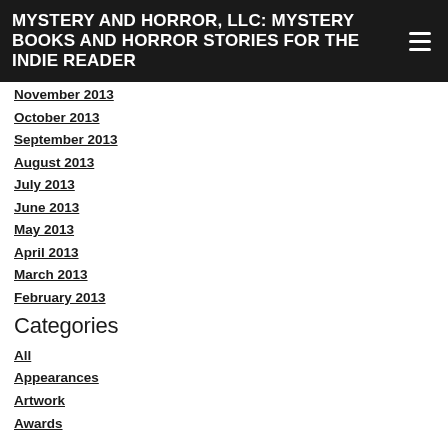MYSTERY AND HORROR, LLC: MYSTERY BOOKS AND HORROR STORIES FOR THE INDIE READER
November 2013
October 2013
September 2013
August 2013
July 2013
June 2013
May 2013
April 2013
March 2013
February 2013
Categories
All
Appearances
Artwork
Awards